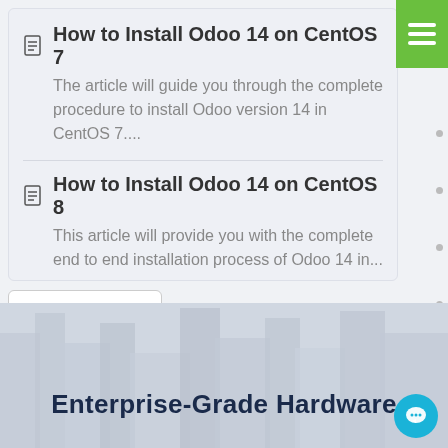How to Install Odoo 14 on CentOS 7 — The article will guide you through the complete procedure to install Odoo version 14 in CentOS 7....
How to Install Odoo 14 on CentOS 8 — This article will provide you with the complete end to end installation process of Odoo 14 in...
« Back
Support
Enterprise-Grade Hardware